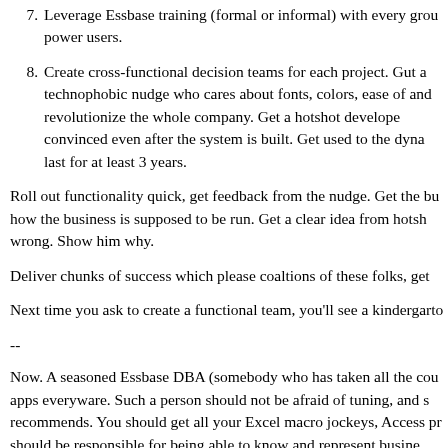7. Leverage Essbase training (formal or informal) with every group power users.
8. Create cross-functional decision teams for each project. Gut a technophobic nudge who cares about fonts, colors, ease of and revolutionize the whole company. Get a hotshot developer convinced even after the system is built. Get used to the dyna last for at least 3 years.
Roll out functionality quick, get feedback from the nudge. Get the bu how the business is supposed to be run. Get a clear idea from hotsh wrong. Show him why.
Deliver chunks of success which please coaltions of these folks, get
Next time you ask to create a functional team, you'll see a kindergarto
--
Now. A seasoned Essbase DBA (somebody who has taken all the cou apps everyware. Such a person should not be afraid of tuning, and s recommends. You should get all your Excel macro jockeys, Access pr should be responsible for being able to know and represent busine Anybody who is prepared to call themselves an NT expert should lea